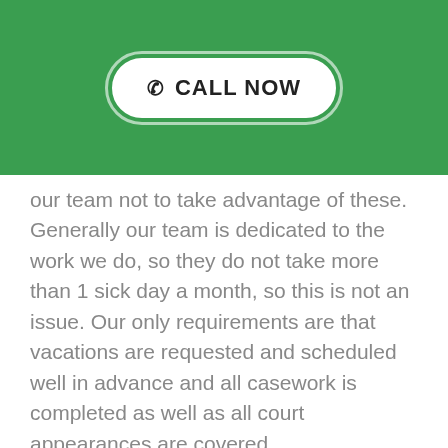[Figure (other): Green banner with a white pill-shaped button containing a phone icon and the text CALL NOW]
our team not to take advantage of these. Generally our team is dedicated to the work we do, so they do not take more than 1 sick day a month, so this is not an issue. Our only requirements are that vacations are requested and scheduled well in advance and all casework is completed as well as all court appearances are covered.
HOW TO APPLY:
Email our managing attorneys Alexis Austin